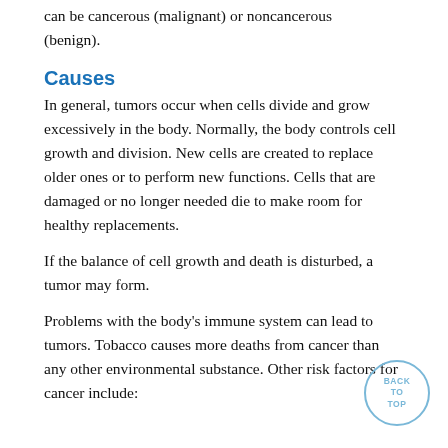can be cancerous (malignant) or noncancerous (benign).
Causes
In general, tumors occur when cells divide and grow excessively in the body. Normally, the body controls cell growth and division. New cells are created to replace older ones or to perform new functions. Cells that are damaged or no longer needed die to make room for healthy replacements.
If the balance of cell growth and death is disturbed, a tumor may form.
Problems with the body's immune system can lead to tumors. Tobacco causes more deaths from cancer than any other environmental substance. Other risk factors for cancer include: